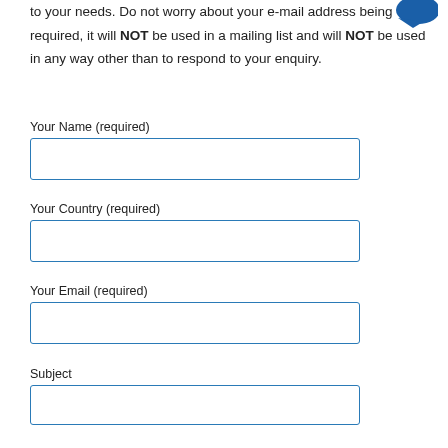to your needs. Do not worry about your e-mail address being required, it will NOT be used in a mailing list and will NOT be used in any way other than to respond to your enquiry.
Your Name (required)
Your Country (required)
Your Email (required)
Subject